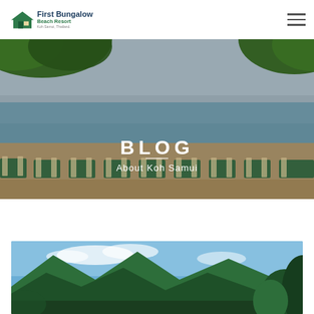First Bungalow Beach Resort – Koh Samui, Thailand
BLOG
About Koh Samui
[Figure (photo): Beach scene with lounge chairs on sand, green trees overhead, ocean horizon in background — hero banner image]
[Figure (photo): Tropical mountain/hills landscape with blue sky and green foliage — bottom article thumbnail image]